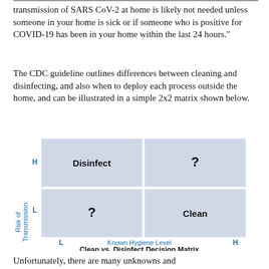transmission of SARS CoV-2 at home is likely not needed unless someone in your home is sick or if someone who is positive for COVID-19 has been in your home within the last 24 hours."
The CDC guideline outlines differences between cleaning and disinfecting, and also when to deploy each process outside the home, and can be illustrated in a simple 2x2 matrix shown below.
[Figure (other): 2x2 matrix titled 'Clean vs. Disinfect Decision Matrix'. Y-axis label 'Risk of Transmission' with H (high) and L (low) markers. X-axis label 'Known Hygiene Level' with L (low) and H (high) markers. Top-left cell: 'Disinfect', top-right cell: '?', bottom-left cell: '?', bottom-right cell: 'Clean'.]
Unfortunately, there are many unknowns and